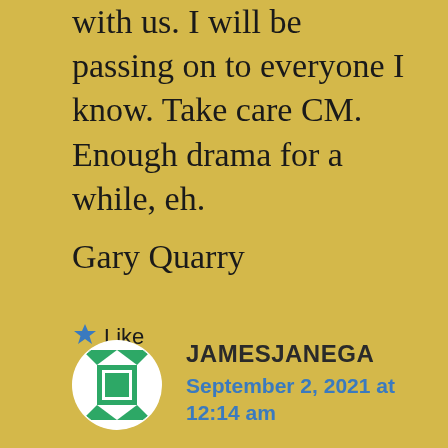with us. I will be passing on to everyone I know. Take care CM. Enough drama for a while, eh.
Gary Quarry
★ Like
[Figure (illustration): Green and white quilt-pattern circular avatar icon for user JAMESJANEGA]
JAMESJANEGA
September 2, 2021 at 12:14 am